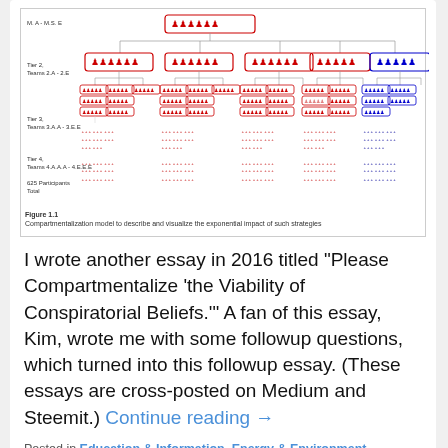[Figure (organizational-chart): Compartmentalization model diagram showing tiered organizational hierarchy. Tier 1 at top (M.A - M.S. E) with red boxed figures, Tier 2 (Teams 2.A-2.E) with red and blue boxed figure groups, Tier 3 (Teams 3.A.A - 3.E.E) with smaller figure groups, Tier 4 (Teams 4.A.A.A - 4.E.E.E) with even smaller groups, and 625 Participants Total at the bottom level.]
Figure 1.1
Compartmentalization model to describe and visualize the exponential impact of such strategies
I wrote another essay in 2016 titled “Please Compartmentalize ‘the Viability of Conspiratorial Beliefs.’” A fan of this essay, Kim, wrote me with some followup questions, which turned into this followup essay. (These essays are cross-posted on Medium and Steemit.) Continue reading →
Posted in Education & Information, Energy & Environment, Imperialism, War On Terror, WWO Multimedia | Tagged Compartmentalization, conspiracy theories, skeptics